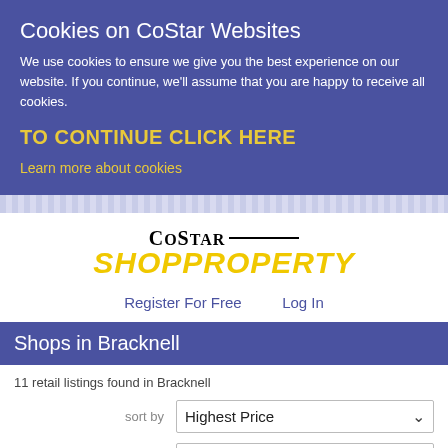Cookies on CoStar Websites
We use cookies to ensure we give you the best experience on our website. If you continue, we'll assume that you are happy to receive all cookies.
TO CONTINUE CLICK HERE
Learn more about cookies
[Figure (logo): CoStar ShopProperty logo with black CoStar text and yellow italic ShopProperty text]
Register For Free    Log In
Shops in Bracknell
11 retail listings found in Bracknell
sort by   Highest Price
shops per page   20
[Figure (photo): Dark thumbnail image at bottom of page]